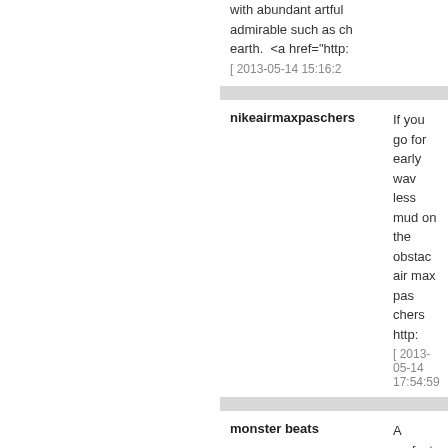with abundant artful admirable such as ch earth.  <a href="http: [ 2013-05-14 15:16:2
nikeairmaxpaschers  If you go for early wav less mud on the obstac air max pas chers http: [ 2013-05-14 17:54:59
monster beats  A perfect section of info I [ 2013-05-14 18:23:01 ]
RALPH LAUREN POLO  ♣♣ 미미미미미 미미미 미미.♣♣ RAL [ 2013-05-14 20:51:41 ]
Christian Louboutin  The band of the ring migh of both the bride and groo http://www.louboutinsold [ 2013-05-14...